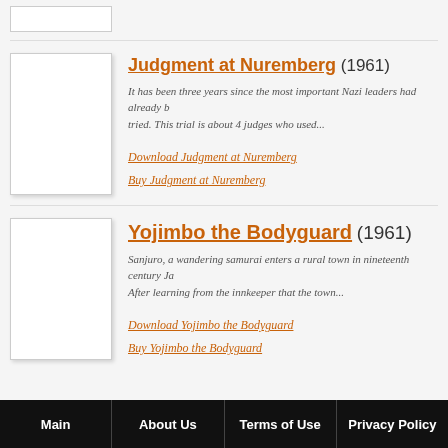[Figure (illustration): Partial movie poster thumbnail at top, cropped]
Judgment at Nuremberg (1961)
It has been three years since the most important Nazi leaders had already been tried. This trial is about 4 judges who used...
Download Judgment at Nuremberg
Buy Judgment at Nuremberg
Yojimbo the Bodyguard (1961)
Sanjuro, a wandering samurai enters a rural town in nineteenth century Japan. After learning from the innkeeper that the town...
Download Yojimbo the Bodyguard
Buy Yojimbo the Bodyguard
Main | About Us | Terms of Use | Privacy Policy